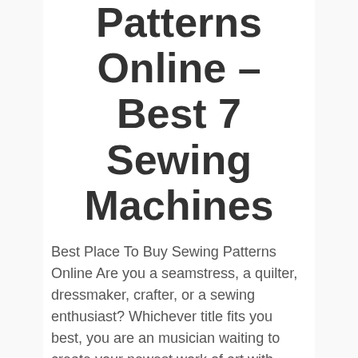Patterns Online – Best 7 Sewing Machines
Best Place To Buy Sewing Patterns Online Are you a seamstress, a quilter, dressmaker, crafter, or a sewing enthusiast? Whichever title fits you best, you are an musician waiting to create your newest work of art with particular fabric, shades of string and one-of-a-kind styles. You are just one of the unique individuals that develop […]
Continue reading